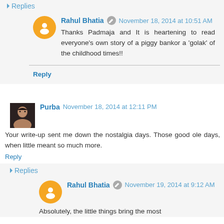▼ Replies
Rahul Bhatia · November 18, 2014 at 10:51 AM
Thanks Padmaja and It is heartening to read everyone's own story of a piggy bankor a 'golak' of the childhood times!!
Reply
Purba  November 18, 2014 at 12:11 PM
Your write-up sent me down the nostalgia days. Those good ole days, when little meant so much more.
Reply
▼ Replies
Rahul Bhatia · November 19, 2014 at 9:12 AM
Absolutely, the little things bring the most